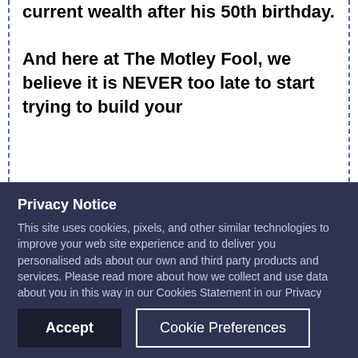current wealth after his 50th birthday.

And here at The Motley Fool, we believe it is NEVER too late to start trying to build your
Privacy Notice
This site uses cookies, pixels, and other similar technologies to improve your web site experience and to deliver you personalised ads about our own and third party products and services. Please read more about how we collect and use data about you in this way in our Cookies Statement in our Privacy Policy. You can change your cookie settings in your browser at any time.